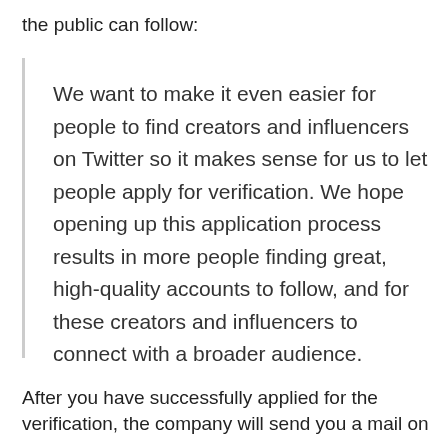the public can follow:
We want to make it even easier for people to find creators and influencers on Twitter so it makes sense for us to let people apply for verification. We hope opening up this application process results in more people finding great, high-quality accounts to follow, and for these creators and influencers to connect with a broader audience.
After you have successfully applied for the verification, the company will send you a mail on